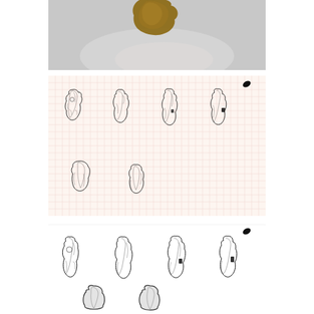[Figure (photo): Photograph of a small brown object (possibly a stone tool or bone fragment) against a light grey background, shown from above.]
[Figure (illustration): Pencil sketches on graph/grid paper showing six views of an irregular lumpy object (possibly a stone tool or animal figurine): four views in top row and two in bottom row. A small dark scale marker appears in upper right.]
[Figure (illustration): Pencil sketches on white paper showing six views of the same irregular lumpy object: four views in top row and two partial views in bottom row. A small dark scale marker appears in upper right.]